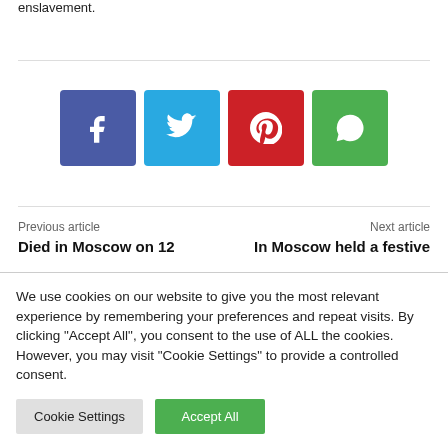enslavement.
[Figure (infographic): Four social share buttons: Facebook (blue-purple), Twitter (light blue), Pinterest (red), WhatsApp (green)]
Previous article
Died in Moscow on 12
Next article
In Moscow held a festive
We use cookies on our website to give you the most relevant experience by remembering your preferences and repeat visits. By clicking "Accept All", you consent to the use of ALL the cookies. However, you may visit "Cookie Settings" to provide a controlled consent.